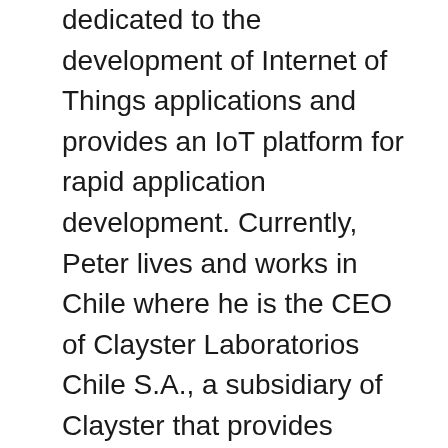dedicated to the development of Internet of Things applications and provides an IoT platform for rapid application development. Currently, Peter lives and works in Chile where he is the CEO of Clayster Laboratorios Chile S.A., a subsidiary of Clayster that provides development expertise to partner companies and promotes the Internet of Things technology to research institutions. Originally a mathematician, commercial pilot, and computer games developer, he has worked for 20 years with computers and device communication, including low-level development in assembler for resource-constrained devices to high-level system